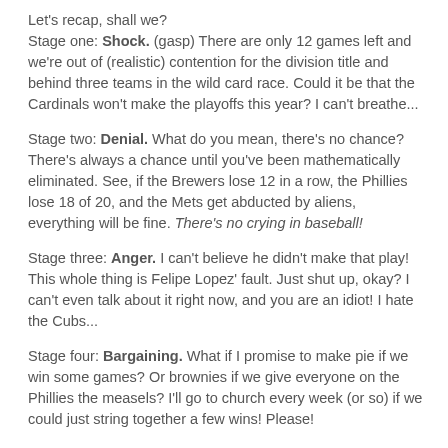Let's recap, shall we? Stage one: Shock. (gasp) There are only 12 games left and we're out of (realistic) contention for the division title and behind three teams in the wild card race. Could it be that the Cardinals won't make the playoffs this year? I can't breathe...
Stage two: Denial. What do you mean, there's no chance? There's always a chance until you've been mathematically eliminated. See, if the Brewers lose 12 in a row, the Phillies lose 18 of 20, and the Mets get abducted by aliens, everything will be fine. There's no crying in baseball!
Stage three: Anger. I can't believe he didn't make that play! This whole thing is Felipe Lopez' fault. Just shut up, okay? I can't even talk about it right now, and you are an idiot! I hate the Cubs...
Stage four: Bargaining. What if I promise to make pie if we win some games? Or brownies if we give everyone on the Phillies the measels? I'll go to church every week (or so) if we could just string together a few wins! Please!